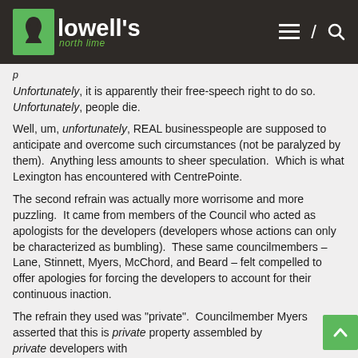[Figure (logo): Lowell's North Lime logo with green icon and navigation icons on dark brown header bar]
p
Unfortunately, it is apparently their free-speech right to do so. Unfortunately, people die.
Well, um, unfortunately, REAL businesspeople are supposed to anticipate and overcome such circumstances (not be paralyzed by them).  Anything less amounts to sheer speculation.  Which is what Lexington has encountered with CentrePointe.
The second refrain was actually more worrisome and more puzzling.  It came from members of the Council who acted as apologists for the developers (developers whose actions can only be characterized as bumbling).  These same councilmembers – Lane, Stinnett, Myers, McChord, and Beard – felt compelled to offer apologies for forcing the developers to account for their continuous inaction.
The refrain they used was "private".  Councilmember Myers asserted that this is private property assembled by private developers with